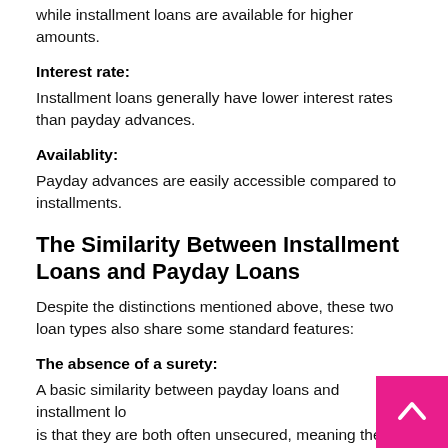while installment loans are available for higher amounts.
Interest rate:
Installment loans generally have lower interest rates than payday advances.
Availablity:
Payday advances are easily accessible compared to installments.
The Similarity Between Installment Loans and Payday Loans
Despite the distinctions mentioned above, these two loan types also share some standard features:
The absence of a surety:
A basic similarity between payday loans and installment loans is that they are both often unsecured, meaning there is no